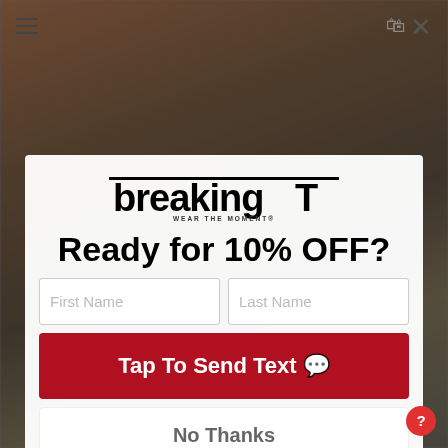[Figure (screenshot): BreakingT website popup screenshot. Background shows a person making an expressive/shocked face. A modal dialog overlays the center with a BreakingT logo, headline 'Ready for 10% OFF?', First Name and Last Name input fields, a red 'Tap To Send Text' button, and a white 'No Thanks' button. A hamburger menu icon is top-left and an X close button is top-right.]
breakingT WEAR THE MOMENT®
Ready for 10% OFF?
First Name
Last Name
Tap To Send Text 💬
No Thanks